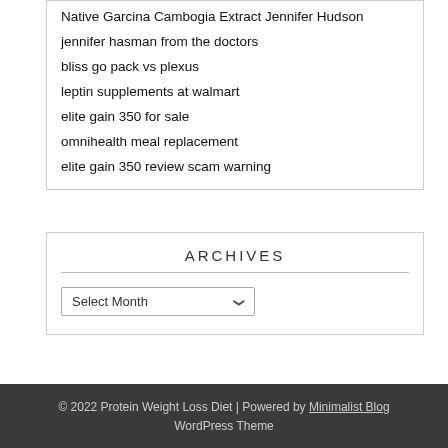Native Garcina Cambogia Extract Jennifer Hudson
jennifer hasman from the doctors
bliss go pack vs plexus
leptin supplements at walmart
elite gain 350 for sale
omnihealth meal replacement
elite gain 350 review scam warning
ARCHIVES
Select Month
© 2022 Protein Weight Loss Diet | Powered by Minimalist Blog WordPress Theme